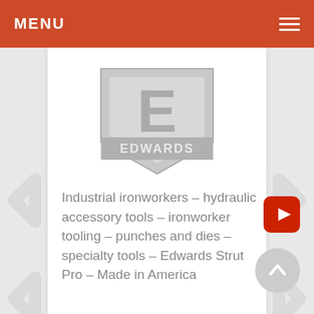MENU
[Figure (logo): Edwards logo — shield shape in light gray with large letter E and EDWARDS text]
Industrial ironworkers – hydraulic accessory tools – ironworker tooling – punches and dies – specialty tools – Edwards Strut Pro – Made in America
[Figure (other): YouTube button — red rounded rectangle with white play triangle]
[Figure (other): Scroll-up button — gray circle with white upward chevron]